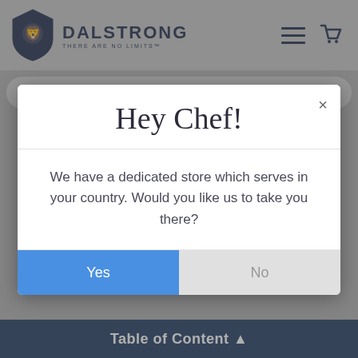[Figure (screenshot): Dalstrong website header with lion logo and navigation icons (hamburger menu and cart)]
[Figure (screenshot): Search bar on Dalstrong website]
Hey Chef!
We have a dedicated store which serves in your country. Would you like us to take you there?
Yes
No
[Figure (screenshot): Dalstrong product image with logo watermark]
Table of Content ▲